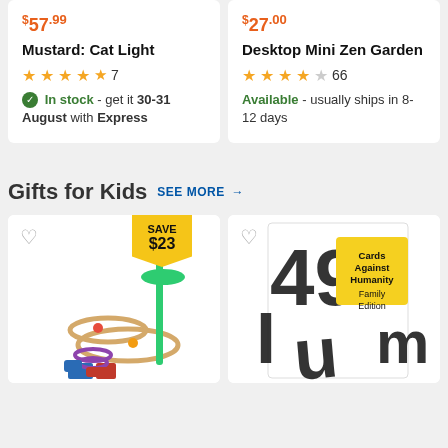$57.99
Mustard: Cat Light
★★★★½ 7
In stock - get it 30-31 August with Express
$27.00
Desktop Mini Zen Garden
★★★★☆ 66
Available - usually ships in 8-12 days
Gifts for Kids  SEE MORE →
[Figure (photo): Colorful wooden marble run toy with SAVE $23 badge]
[Figure (photo): Cards Against Humanity Family Edition box with black and white letters pattern]